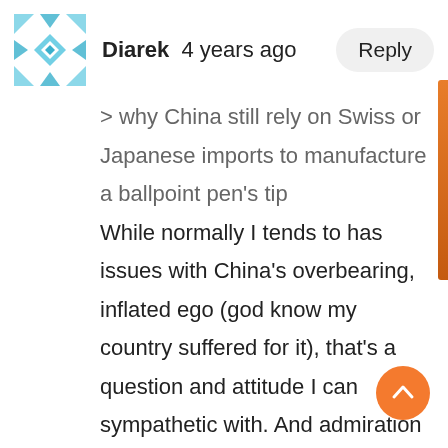[Figure (illustration): Blue and white snowflake-style geometric avatar icon for user Diarek]
Diarek  4 years ago
Reply
> why China still rely on Swiss or Japanese imports to manufacture a ballpoint pen's tip
While normally I tends to has issues with China's overbearing, inflated ego (god know my country suffered for it), that's a question and attitude I can sympathetic with. And admiration that they managed to achieve that. The Taiji certainly a good looking pen that I looks forward to buying. The